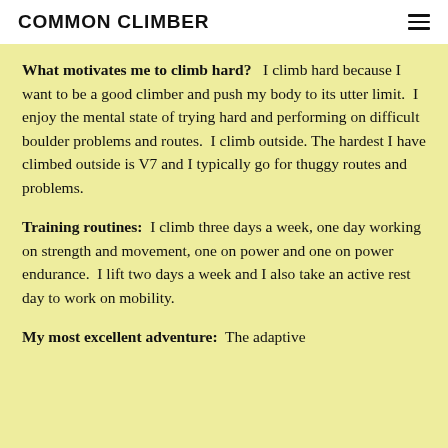COMMON CLIMBER
What motivates me to climb hard?  I climb hard because I want to be a good climber and push my body to its utter limit.  I enjoy the mental state of trying hard and performing on difficult boulder problems and routes.  I climb outside. The hardest I have climbed outside is V7 and I typically go for thuggy routes and problems.
Training routines:  I climb three days a week, one day working on strength and movement, one on power and one on power endurance.  I lift two days a week and I also take an active rest day to work on mobility.
My most excellent adventure:  The adaptive